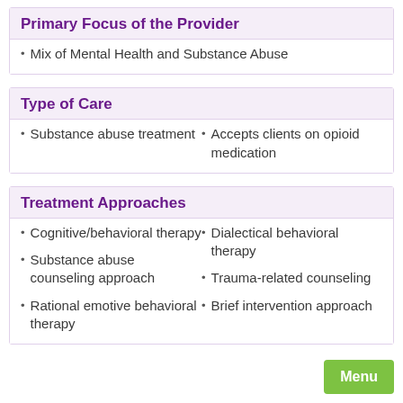Primary Focus of the Provider
Mix of Mental Health and Substance Abuse
Type of Care
Substance abuse treatment
Accepts clients on opioid medication
Treatment Approaches
Cognitive/behavioral therapy
Dialectical behavioral therapy
Substance abuse counseling approach
Trauma-related counseling
Rational emotive behavioral therapy
Brief intervention approach